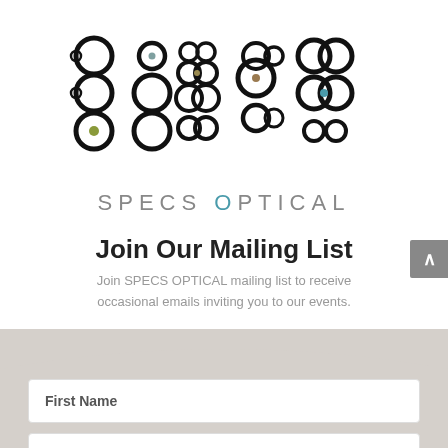[Figure (logo): Specs Optical logo made of circular ring patterns arranged to spell letters, with colored dots inside some rings (teal, olive, brown)]
SPECS OPTICAL
Join Our Mailing List
Join SPECS OPTICAL mailing list to receive occasional emails inviting you to our events.
[Figure (screenshot): Web form with fields: First Name, Last Name, Email on a grey background with wave-shaped top, and a scroll-to-top arrow button on the right edge]